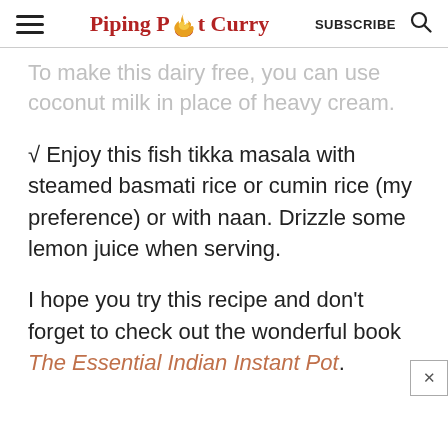Piping Pot Curry | SUBSCRIBE
To make this dairy free, you can use coconut milk in place of heavy cream.
√ Enjoy this fish tikka masala with steamed basmati rice or cumin rice (my preference) or with naan. Drizzle some lemon juice when serving.
I hope you try this recipe and don't forget to check out the wonderful book The Essential Indian Instant Pot.